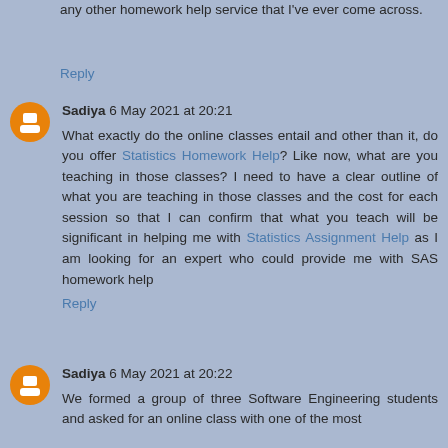any other homework help service that I've ever come across.
Reply
Sadiya 6 May 2021 at 20:21
What exactly do the online classes entail and other than it, do you offer Statistics Homework Help? Like now, what are you teaching in those classes? I need to have a clear outline of what you are teaching in those classes and the cost for each session so that I can confirm that what you teach will be significant in helping me with Statistics Assignment Help as I am looking for an expert who could provide me with SAS homework help
Reply
Sadiya 6 May 2021 at 20:22
We formed a group of three Software Engineering students and asked for an online class with one of the most